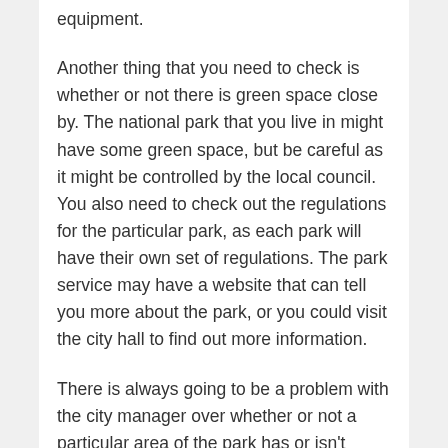equipment.
Another thing that you need to check is whether or not there is green space close by. The national park that you live in might have some green space, but be careful as it might be controlled by the local council. You also need to check out the regulations for the particular park, as each park will have their own set of regulations. The park service may have a website that can tell you more about the park, or you could visit the city hall to find out more information.
There is always going to be a problem with the city manager over whether or not a particular area of the park has or isn't fenced in. It is the responsibility of the city manager